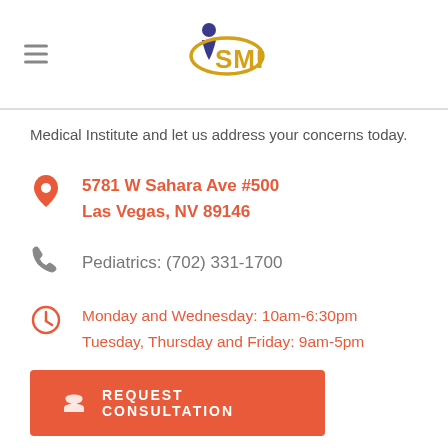ISMI logo and hamburger menu
Medical Institute and let us address your concerns today.
5781 W Sahara Ave #500
Las Vegas, NV 89146
Pediatrics: (702) 331-1700
Monday and Wednesday: 10am-6:30pm
Tuesday, Thursday and Friday: 9am-5pm
REQUEST CONSULTATION